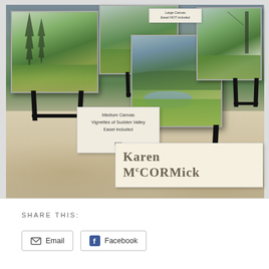[Figure (photo): Photo of an art display table at a craft fair showing four small landscape paintings on mini black easels. The paintings depict Vignettes of Sudden Valley scenes with trees, meadows, hills and water. A price card reads 'Medium Canvas, Vignettes of Sudden Valley, Easel included, $20'. A decorative sign on the table reads 'Karen McCormick' in ornate lettering on a cream background tablecloth.]
SHARE THIS:
Email
Facebook